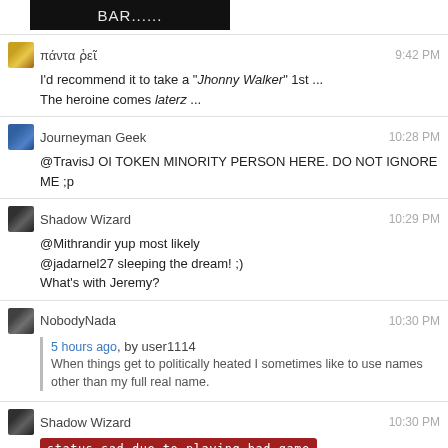[Figure (screenshot): Black banner bar with text 'BAR......']
πάντα ῥεῖ  9:42 PM
I'd recommend it to take a "Jhonny Walker" 1st ...
The heroine comes laterz ...
Journeyman Geek  10:28 PM
@TravisJ OI TOKEN MINORITY PERSON HERE. DO NOT IGNORE ME ;p
Shadow Wizard  10:29 PM
@Mithrandir yup most likely
@jadarnel27 sleeping the dream! ;)
What's with Jeremy?
NobodyNada  10:30 PM
5 hours ago, by user1114
When things get to politically heated I sometimes like to use names other than my full real name.
Shadow Wizard  10:30 PM
status-sad-due-to-playing-bad-game
@NobodyNada huh? That was @Jeremy?! oh my...
Never saw that coming...
user315433  10:31 PM